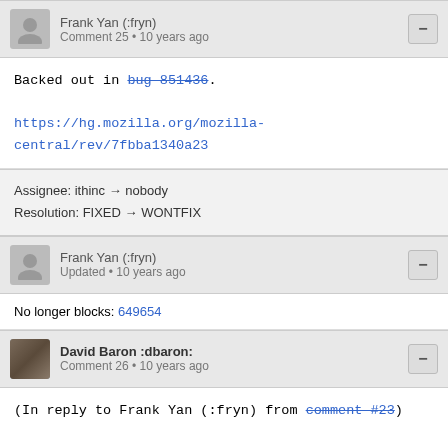Frank Yan (:fryn) — Comment 25 • 10 years ago
Backed out in bug 851436.

https://hg.mozilla.org/mozilla-central/rev/7fbba1340a23
Assignee: ithinc → nobody
Resolution: FIXED → WONTFIX
Frank Yan (:fryn) — Updated • 10 years ago
No longer blocks: 649654
David Baron :dbaron: — Comment 26 • 10 years ago
(In reply to Frank Yan (:fryn) from comment #23)